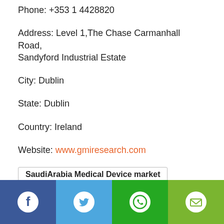Phone: +353 1 4428820
Address: Level 1,The Chase Carmanhall Road, Sandyford Industrial Estate
City: Dublin
State: Dublin
Country: Ireland
Website: www.gmiresearch.com
SaudiArabia Medical Device market
gmi research
Social share buttons: Facebook, Twitter, WhatsApp, Email